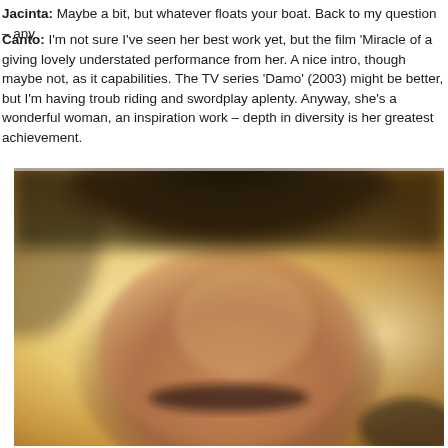Jacinta: Maybe a bit, but whatever floats your boat. Back to my question – any
Canto: I'm not sure I've seen her best work yet, but the film 'Miracle of a giving lovely understated performance from her. A nice intro, though maybe not, as it capabilities. The TV series 'Damo' (2003) might be better, but I'm having troub riding and swordplay aplenty. Anyway, she's a wonderful woman, an inspiration work – depth in diversity is her greatest achievement.
[Figure (photo): A blurry close-up photograph of a person's face, showing mainly the forehead, dark short hair, and eyebrow area, with a warm golden/amber blurred background.]